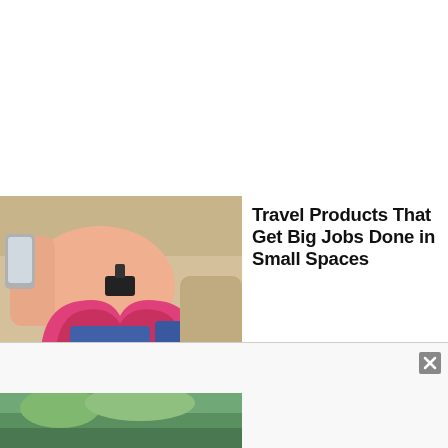[Figure (photo): A person sitting on a beige sofa holding a smartphone, with a pink U-shaped travel pillow with a phone/camera mount clamp on their lap, wearing a peach top and jeans]
Travel Products That Get Big Jobs Done in Small Spaces
By Frommer's Staff
[Figure (photo): Partial view of an outdoor travel/nature scene at the bottom of the page, partially cut off]